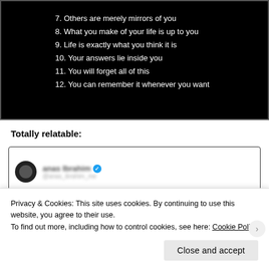[Figure (illustration): Black background image with white text listing items 7 through 12: 7. Others are merely mirrors of you, 8. What you make of your life is up to you, 9. Life is exactly what you think it is, 10. Your answers lie inside you, 11. You will forget all of this, 12. You can remember it whenever you want]
Totally relatable:
[Figure (screenshot): Partial screenshot of a tweet card showing a blurred/redacted user avatar and username with a blue verified badge]
Privacy & Cookies: This site uses cookies. By continuing to use this website, you agree to their use.
To find out more, including how to control cookies, see here: Cookie Policy
Close and accept